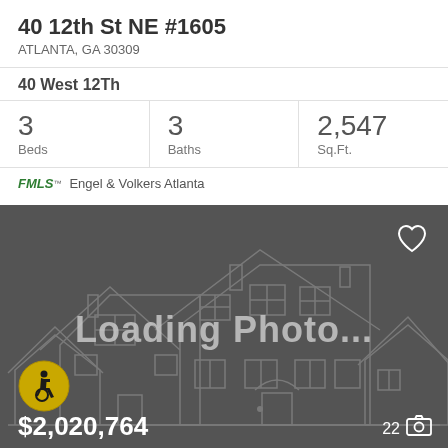40 12th St NE #1605
ATLANTA, GA 30309
40 West 12Th
| 3
Beds | 3
Baths | 2,547
Sq.Ft. |
FMLS™  Engel & Volkers Atlanta
[Figure (screenshot): Loading photo placeholder with house outline illustration on dark gray background, showing 'Loading Photo...' text, accessibility icon, price $2,020,764, and photo count 22]
$2,020,764
22